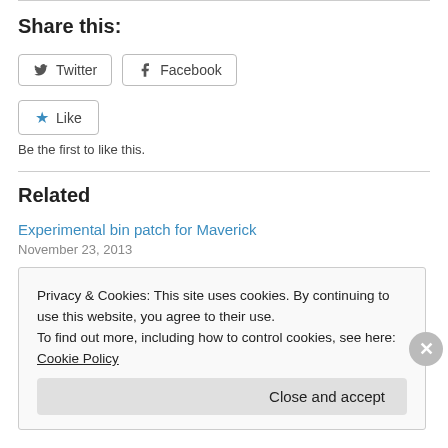Share this:
Twitter  Facebook
Like  Be the first to like this.
Related
Experimental bin patch for Maverick
November 23, 2013
Privacy & Cookies: This site uses cookies. By continuing to use this website, you agree to their use.
To find out more, including how to control cookies, see here: Cookie Policy
Close and accept